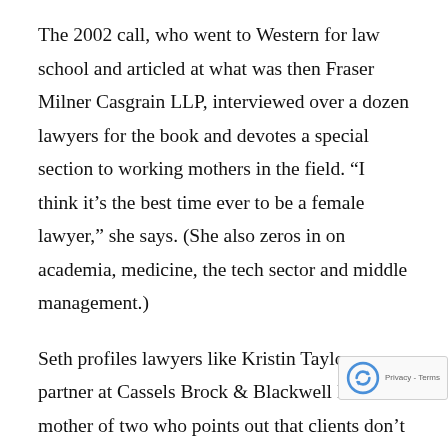The 2002 call, who went to Western for law school and articled at what was then Fraser Milner Casgrain LLP, interviewed over a dozen lawyers for the book and devotes a special section to working mothers in the field. “I think it’s the best time ever to be a female lawyer,” she says. (She also zeros in on academia, medicine, the tech sector and middle management.)
Seth profiles lawyers like Kristin Taylor, a partner at Cassels Brock & Blackwell LLP and mother of two who points out that clients don’t care whether she’s in the office or working from home, so long as she’s responsive and helpful.
Tara Piurko, a partner at McCarthy Tétrault LLP, k…